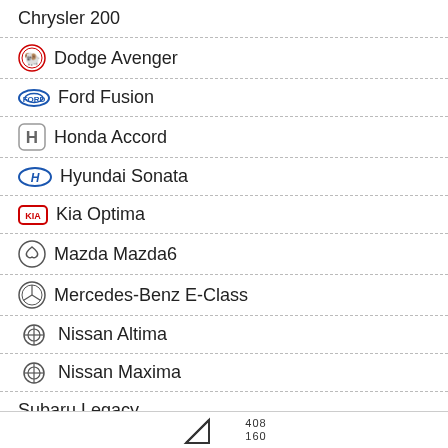Chrysler 200
Dodge Avenger
Ford Fusion
Honda Accord
Hyundai Sonata
Kia Optima
Mazda Mazda6
Mercedes-Benz E-Class
Nissan Altima
Nissan Maxima
Subaru Legacy
Toyota Camry
Volvo S60
408 160